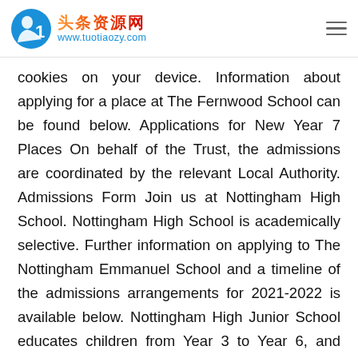头条资源网 www.tuotiaozy.com
cookies on your device. Information about applying for a place at The Fernwood School can be found below. Applications for New Year 7 Places On behalf of the Trust, the admissions are coordinated by the relevant Local Authority. Admissions Form Join us at Nottingham High School. Nottingham High School is academically selective. Further information on applying to The Nottingham Emmanuel School and a timeline of the admissions arrangements for 2021-2022 is available below. Nottingham High Junior School educates children from Year 3 to Year 6, and welcomes new pupils at all year groups subject to availability. Parents/carers living in